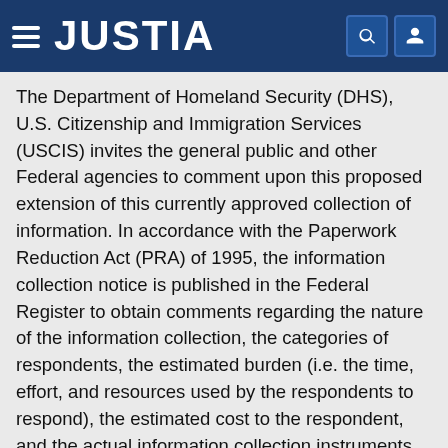JUSTIA
The Department of Homeland Security (DHS), U.S. Citizenship and Immigration Services (USCIS) invites the general public and other Federal agencies to comment upon this proposed extension of this currently approved collection of information. In accordance with the Paperwork Reduction Act (PRA) of 1995, the information collection notice is published in the Federal Register to obtain comments regarding the nature of the information collection, the categories of respondents, the estimated burden (i.e. the time, effort, and resources used by the respondents to respond), the estimated cost to the respondent, and the actual information collection instruments.
https://regulations.justia.com/regulations/fedreg/2014/02/12/2014-03075.html